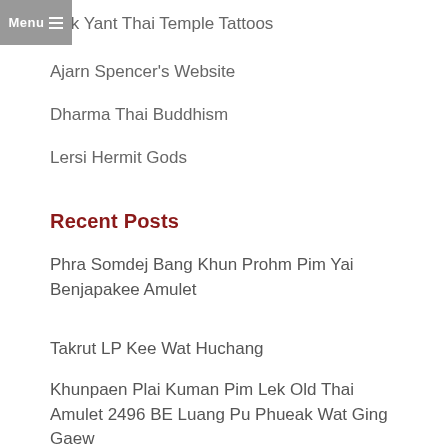Menu
Sak Yant Thai Temple Tattoos
Ajarn Spencer's Website
Dharma Thai Buddhism
Lersi Hermit Gods
Recent Posts
Phra Somdej Bang Khun Prohm Pim Yai Benjapakee Amulet
Takrut LP Kee Wat Huchang
Khunpaen Plai Kuman Pim Lek Old Thai Amulet 2496 BE Luang Pu Phueak Wat Ging Gaew